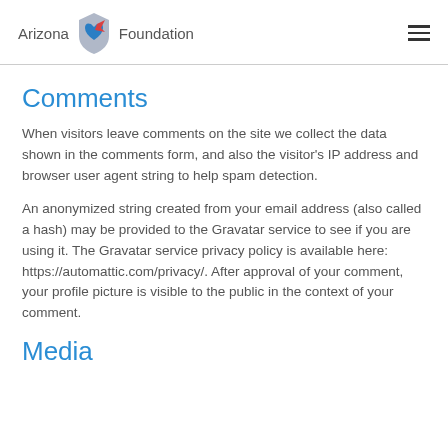Arizona Foundation
Comments
When visitors leave comments on the site we collect the data shown in the comments form, and also the visitor's IP address and browser user agent string to help spam detection.
An anonymized string created from your email address (also called a hash) may be provided to the Gravatar service to see if you are using it. The Gravatar service privacy policy is available here: https://automattic.com/privacy/. After approval of your comment, your profile picture is visible to the public in the context of your comment.
Media